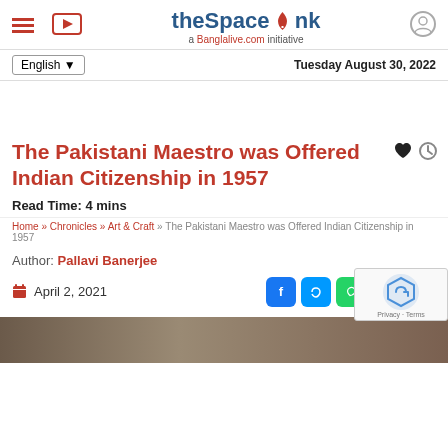theSpaceInk — a Banglalive.com initiative
English ▾  Tuesday August 30, 2022
The Pakistani Maestro was Offered Indian Citizenship in 1957
Read Time: 4 mins
Home » Chronicles » Art & Craft » The Pakistani Maestro was Offered Indian Citizenship in 1957
Author: Pallavi Banerjee
April 2, 2021
[Figure (photo): Partial view of a photo strip at bottom of page, brown/sepia tones]